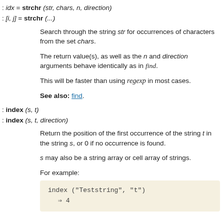: idx = strchr (str, chars, n, direction)
: [i, j] = strchr (...)
Search through the string str for occurrences of characters from the set chars.
The return value(s), as well as the n and direction arguments behave identically as in find.
This will be faster than using regexp in most cases.
See also: find.
: index (s, t)
: index (s, t, direction)
Return the position of the first occurrence of the string t in the string s, or 0 if no occurrence is found.
s may also be a string array or cell array of strings.
For example:
[Figure (screenshot): Code block showing: index ("Teststring", "t") => 4]